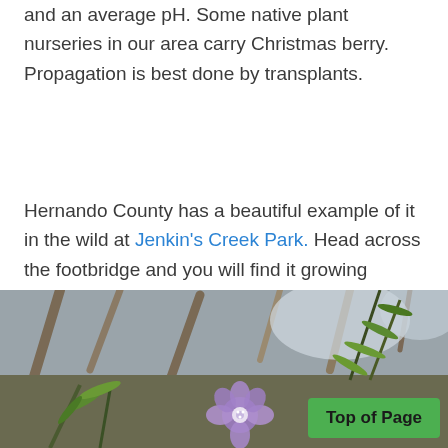and an average pH. Some native plant nurseries in our area carry Christmas berry. Propagation is best done by transplants.
Hernando County has a beautiful example of it in the wild at Jenkin's Creek Park. Head across the footbridge and you will find it growing throughout the walking paths.
[Figure (photo): Close-up photograph of a small purple flower with green narrow leaves growing among dry brown stems and branches, with a blurred natural background.]
Top of Page